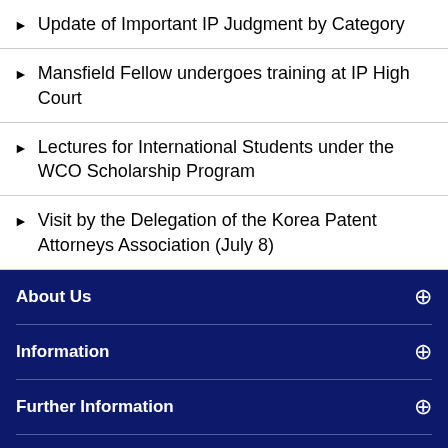Update of Important IP Judgment by Category
Mansfield Fellow undergoes training at IP High Court
Lectures for International Students under the WCO Scholarship Program
Visit by the Delegation of the Korea Patent Attorneys Association (July 8)
About Us
Information
Further Information
Rules of Practice